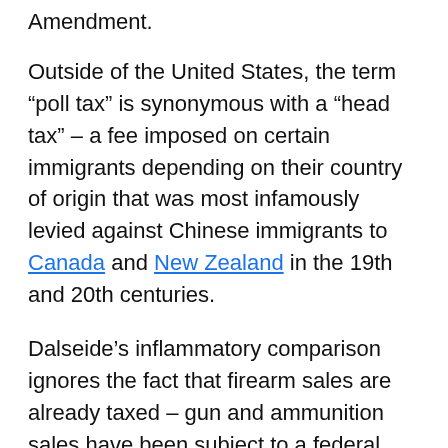Amendment.
Outside of the United States, the term “poll tax” is synonymous with a “head tax” – a fee imposed on certain immigrants depending on their country of origin that was most infamously levied against Chinese immigrants to Canada and New Zealand in the 19th and 20th centuries.
Dalseide’s inflammatory comparison ignores the fact that firearm sales are already taxed – gun and ammunition sales have been subject to a federal excise tax for decades that is used to fund conservation programs.
The NRA – which is joined in its lawsuit by the Second Amendment Foundation and a gun industry trade group, the National Shooting Sports Foundation (NSSF) – says the tax violates a Washington state law limiting the kinds of gun regulations localities can enact. The Seattle City Council contends that the new tax does not regulate